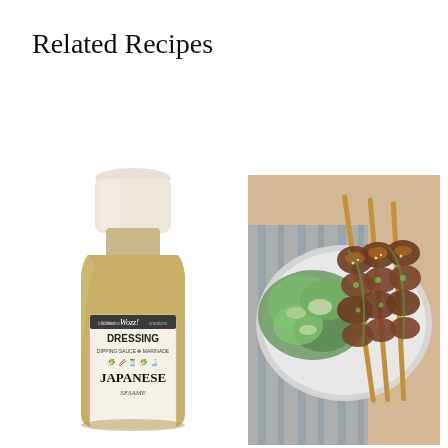Related Recipes
[Figure (photo): A bottle of Wozz! Kitchen Creations Japanese dressing, dipping sauce and marinade product. White bottle with branded label showing 'DRESSING, DIPPING SAUCE, MARINADE, JAPANESE' text.]
[Figure (photo): Overhead photo of grilled chicken skewers on a plate with a green salad, served on a striped cloth napkin on a wooden surface.]